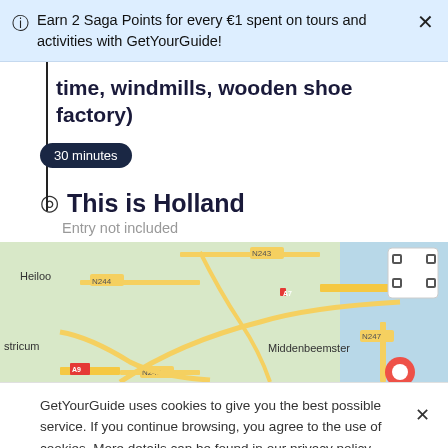Earn 2 Saga Points for every €1 spent on tours and activities with GetYourGuide!
time, windmills, wooden shoe factory)
30 minutes
This is Holland
Entry not included
[Figure (map): Map showing area near Middenbeemster, Netherlands, with roads N243, N244, N246, N247, A7, A9 labeled, and a location marker visible near Middenbeemster.]
GetYourGuide uses cookies to give you the best possible service. If you continue browsing, you agree to the use of cookies. More details can be found in our privacy policy.